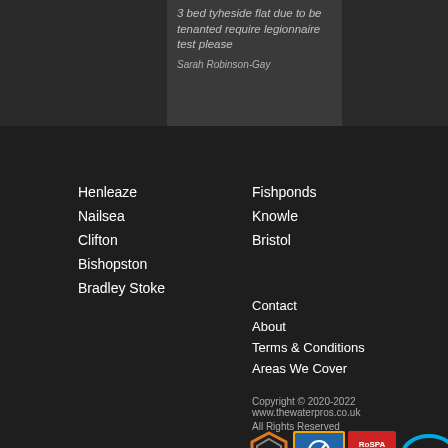3 bed tyheside flat due to be tenanted require legionnaire test please
Sarah Robinson-Gay
Henleaze
Nailsea
Clifton
Bishopston
Bradley Stoke
Fishponds
Knowle
Bristol
Contact
About
Terms & Conditions
Areas We Cover
Copyright © 2020-2022 www.thewaterpros.co.uk
All Rights Reserved
[Figure (logo): Four certification/accreditation badges: an abstract orange/grey logo, ISO 9001:2008 Registered Firm badge, RoSPA Member badge, and CHAS badge]